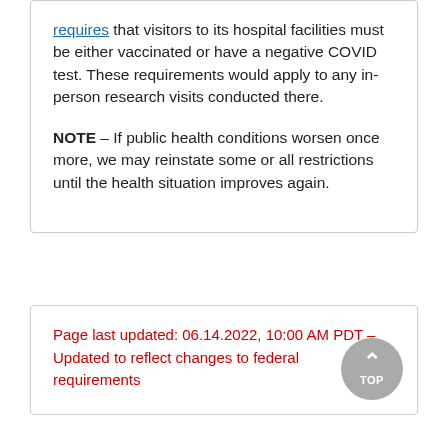requires that visitors to its hospital facilities must be either vaccinated or have a negative COVID test. These requirements would apply to any in-person research visits conducted there.
NOTE – If public health conditions worsen once more, we may reinstate some or all restrictions until the health situation improves again.
Page last updated: 06.14.2022, 10:00 AM PDT – Updated to reflect changes to federal requirements